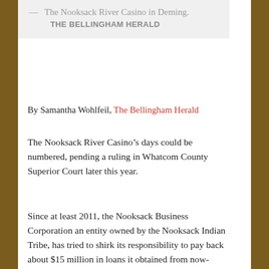— The Nooksack River Casino in Deming. THE BELLINGHAM HERALD
By Samantha Wohlfeil, The Bellingham Herald
The Nooksack River Casino's days could be numbered, pending a ruling in Whatcom County Superior Court later this year.
Since at least 2011, the Nooksack Business Corporation an entity owned by the Nooksack Indian Tribe, has tried to shirk its responsibility to pay back about $15 million in loans it obtained from now-defunct BankFirst in 2006. The corporation, owner and operator of Nooksack River Casino, got the loan to pay off some debt and renovate its Deming casino.
The corporation made payments for about a year before it went into default, kicking off the first of three agreements it